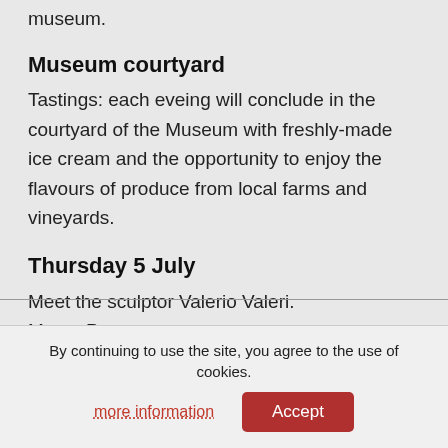museum.
Museum courtyard
Tastings: each eveing will conclude in the courtyard of the Museum with freshly-made ice cream and the opportunity to enjoy the flavours of produce from local farms and vineyards.
Thursday 5 July
Meet the sculptor Valerio Valeri.
Marco Poeta presents
Il Fado, the soul and its music
By continuing to use the site, you agree to the use of cookies.